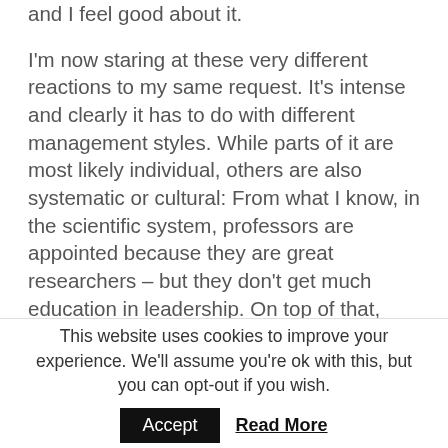and I feel good about it.
I'm now staring at these very different reactions to my same request. It's intense and clearly it has to do with different management styles. While parts of it are most likely individual, others are also systematic or cultural: From what I know, in the scientific system, professors are appointed because they are great researchers – but they don't get much education in leadership. On top of that, most professors never really worked in a company, because it is somehow perceived as negative if one leaves the science system. For me
This website uses cookies to improve your experience. We'll assume you're ok with this, but you can opt-out if you wish.
Accept  Read More